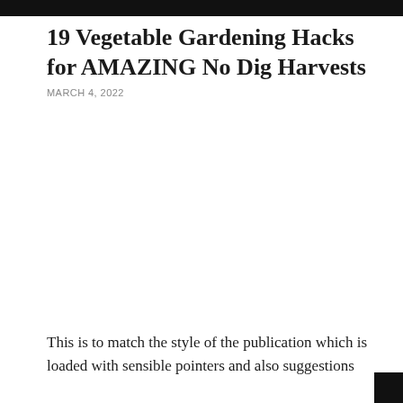19 Vegetable Gardening Hacks for AMAZING No Dig Harvests
MARCH 4, 2022
[Figure (photo): Large image placeholder (white/blank area representing a photo)]
This is to match the style of the publication which is loaded with sensible pointers and also suggestions